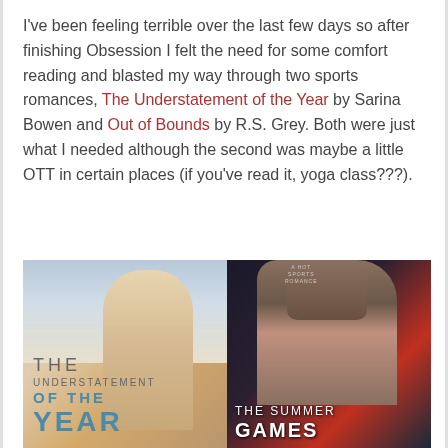I've been feeling terrible over the last few days so after finishing Obsession I felt the need for some comfort reading and blasted my way through two sports romances, The Understatement of the Year by Sarina Bowen and Out of Bounds by R.S. Grey. Both were just what I needed although the second was maybe a little OTT in certain places (if you've read it, yoga class???).
[Figure (illustration): Two book covers side by side: left cover is 'The Understatement of the Year' showing a person's torso against a sky background with teal/blue title text; right cover is 'The Summer Games' showing a shirtless man against a dark red/blue background with white title text.]